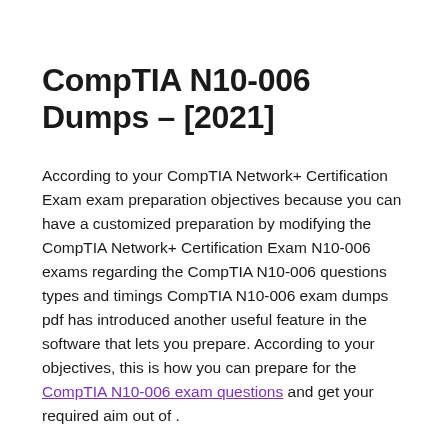CompTIA N10-006 Dumps – [2021]
According to your CompTIA Network+ Certification Exam exam preparation objectives because you can have a customized preparation by modifying the CompTIA Network+ Certification Exam N10-006 exams regarding the CompTIA N10-006 questions types and timings CompTIA N10-006 exam dumps pdf has introduced another useful feature in the software that lets you prepare. According to your objectives, this is how you can prepare for the CompTIA N10-006 exam questions and get your required aim out of .
This CompTIA N10-006 exam dumps feature suits every candidate's need because a number of them may want a promotion or other people might have to begin an